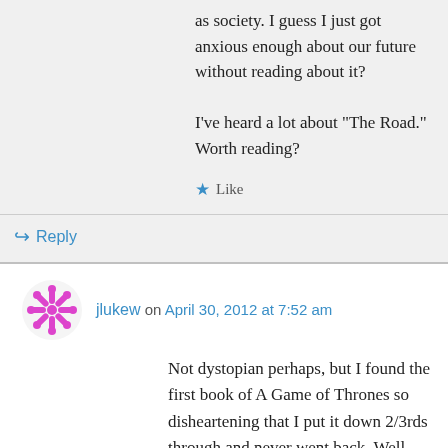as society. I guess I just got anxious enough about our future without reading about it?
I've heard a lot about “The Road.” Worth reading?
★ Like
↳ Reply
jlukew on April 30, 2012 at 7:52 am
Not dystopian perhaps, but I found the first book of A Game of Thrones so disheartening that I put it down 2/3rds through and never went back. Well written it may be, but must every main character die? I found I could connect with no one for fear they’d be gone a chapter later (or